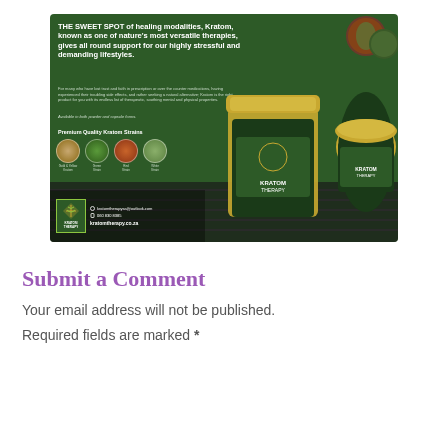[Figure (advertisement): Kratom Therapy advertisement showing two glass jars of Kratom products on a dark wooden surface, with headline text about healing modalities, strain circles (Gold & Yellow, Green, Red, White strains), contact info: kratomtherapysa@outlook.com, 060 830 8385, kratomtherapy.co.za]
Submit a Comment
Your email address will not be published.
Required fields are marked *